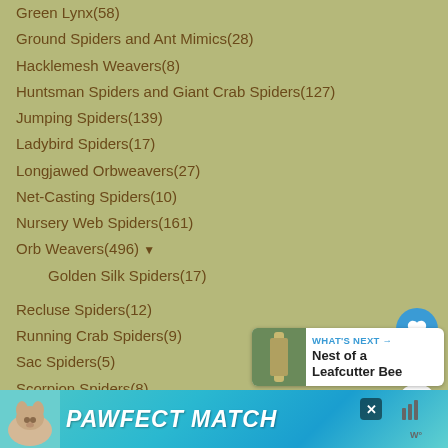Green Lynx(58)
Ground Spiders and Ant Mimics(28)
Hacklemesh Weavers(8)
Huntsman Spiders and Giant Crab Spiders(127)
Jumping Spiders(139)
Ladybird Spiders(17)
Longjawed Orbweavers(27)
Net-Casting Spiders(10)
Nursery Web Spiders(161)
Orb Weavers(496) ▼
Golden Silk Spiders(17)
Recluse Spiders(12)
Running Crab Spiders(9)
Sac Spiders(5)
Scorpion Spiders(8)
Sheetweb Spiders(4)
Sow Bug Killers(11)
Spitting Spiders(3)
Tarantulas and Trapdoor Spiders(166) ▼
[Figure (screenshot): PAWFECT MATCH advertisement banner with a dog photo and close button]
[Figure (screenshot): What's Next panel showing Nest of a Leafcutter Bee]
[Figure (screenshot): Heart/like button (blue circle), count bubble showing 1, and share button (white circle)]